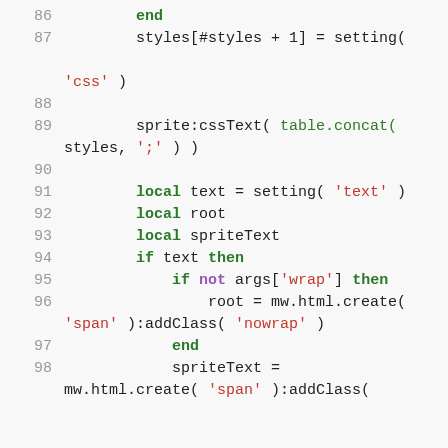Code listing lines 86-98, Lua source code showing sprite CSS and text handling logic